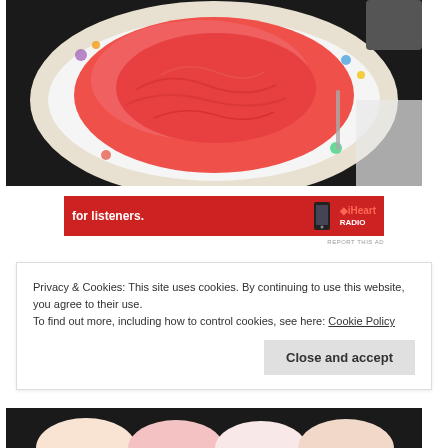[Figure (photo): Overhead view of pink/red ice cream or sorbet on a white floral-patterned plate, on a dark countertop]
[Figure (photo): Red advertisement banner with text 'for listeners.' and a phone image and logo]
REPORT THIS AD
Privacy & Cookies: This site uses cookies. By continuing to use this website, you agree to their use.
To find out more, including how to control cookies, see here: Cookie Policy
Close and accept
[Figure (photo): Partial view of scoops of ice cream at the bottom of the page]